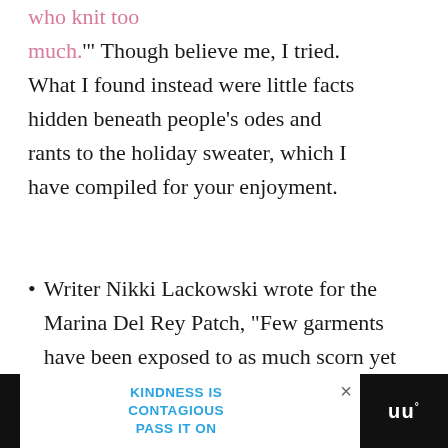who knit too much.'’ Though believe me, I tried. What I found instead were little facts hidden beneath people’s odes and rants to the holiday sweater, which I have compiled for your enjoyment.
Writer Nikki Lackowski wrote for the Marina Del Rey Patch, “Few garments have been exposed to as much scorn yet remained such a popular tradition.” As to the sweater’s origin,
KINDNESS IS CONTAGIOUS PASS IT ON